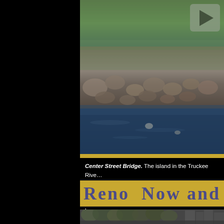[Figure (photo): Aerial or close-up color photo of the Truckee River near Center Street Bridge, showing blue water, rocky riverbank with large stones, and green vegetation/landscaping along the shore. A video play button is visible in the top right corner.]
Center Street Bridge. The island in the Truckee Rive... Streets was landscaped by the WPA during the depr... is gone and the Sienna Hotel Spa and Casino rises b... Hausauer.  Click on the photo to view the "Now and
Reno  Now and
[Figure (photo): Black and white historical photograph showing trees and buildings in Reno, Nevada.]